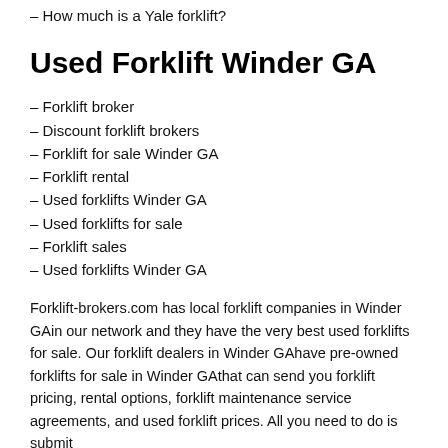– How much is a Yale forklift?
Used Forklift Winder GA
– Forklift broker
– Discount forklift brokers
– Forklift for sale Winder GA
– Forklift rental
– Used forklifts Winder GA
– Used forklifts for sale
– Forklift sales
– Used forklifts Winder GA
Forklift-brokers.com has local forklift companies in Winder GAin our network and they have the very best used forklifts for sale. Our forklift dealers in Winder GAhave pre-owned forklifts for sale in Winder GAthat can send you forklift pricing, rental options, forklift maintenance service agreements, and used forklift prices. All you need to do is submit